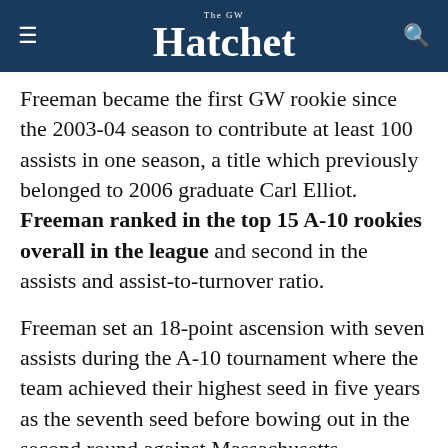The GW Hatchet
Freeman became the first GW rookie since the 2003-04 season to contribute at least 100 assists in one season, a title which previously belonged to 2006 graduate Carl Elliot. Freeman ranked in the top 15 A-10 rookies overall in the league and second in the assists and assist-to-turnover ratio.
Freeman set an 18-point ascension with seven assists during the A-10 tournament where the team achieved their highest seed in five years as the seventh seed before bowing out in the second round against Massachusetts.
This article appeared in the March 31, 2022 issue